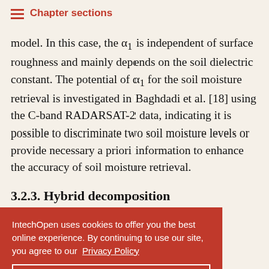Chapter sections
model. In this case, the α₁ is independent of surface roughness and mainly depends on the soil dielectric constant. The potential of α₁ for the soil moisture retrieval is investigated in Baghdadi et al. [18] using the C-band RADARSAT-2 data, indicating it is possible to discriminate two soil moisture levels or provide necessary a priori information to enhance the accuracy of soil moisture retrieval.
3.2.3. Hybrid decomposition
…e empirically …nherently a …e model- …g and …ically used. Recently the combination between the model-based
IntechOpen uses cookies to offer you the best online experience. By continuing to use our site, you agree to our Privacy Policy
Got it!